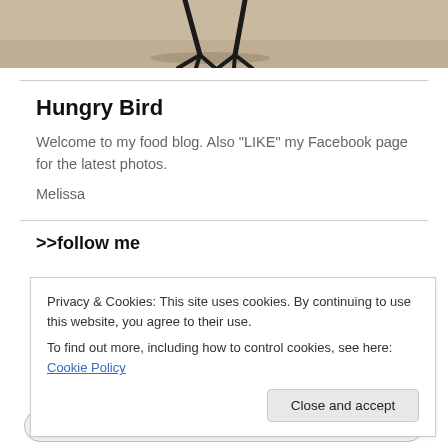[Figure (photo): Cropped photo showing legs/feet of a bird standing on sandy ground with shadow visible]
Hungry Bird
Welcome to my food blog. Also "LIKE" my Facebook page for the latest photos.
Melissa
>>follow me
Privacy & Cookies: This site uses cookies. By continuing to use this website, you agree to their use.
To find out more, including how to control cookies, see here: Cookie Policy
Close and accept
XsubscribeX